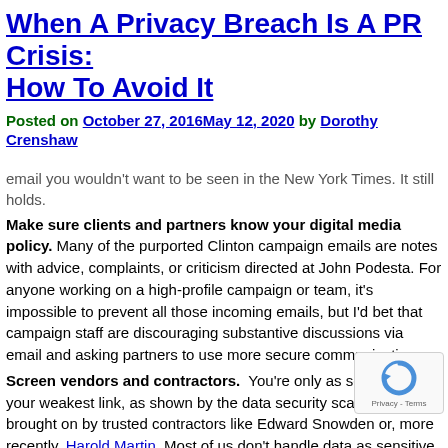When A Privacy Breach Is A PR Crisis: How To Avoid It
Posted on October 27, 2016May 12, 2020 by Dorothy Crenshaw
email you wouldn't want to be seen in the New York Times. It still holds.
Make sure clients and partners know your digital media policy. Many of the purported Clinton campaign emails are notes with advice, complaints, or criticism directed at John Podesta. For anyone working on a high-profile campaign or team, it's impossible to prevent all those incoming emails, but I'd bet that campaign staff are discouraging substantive discussions via email and asking partners to use more secure communications.
Screen vendors and contractors. You're only as secure as your weakest link, as shown by the data security scandals brought on by trusted contractors like Edward Snowden or, more recently, Harold Martin. Most of us don't handle data as sensitive as a federal agency like the NSA, but we can institute clear vendor security protocols and